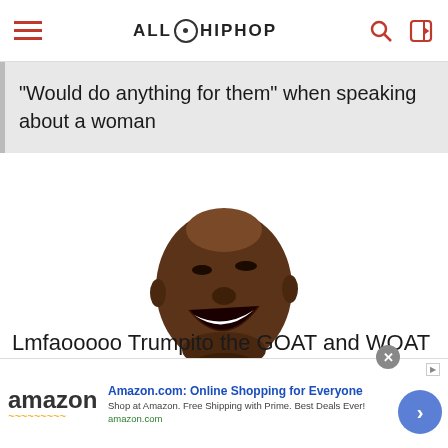ALLHIPHOP
"Would do anything for them" when speaking about a woman
[Figure (photo): A laughing face (head only, no background) of a man laughing heartily, mouth open wide]
Lmfaooooo Trumpito the GOAT and WOAT
Amazon.com: Online Shopping for Everyone
Shop at Amazon. Free Shipping with Prime. Best Deals Ever!
amazon.com